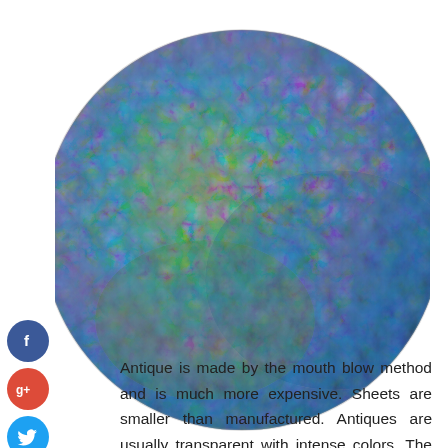[Figure (photo): A circular disk of antique glass with multicolored swirling texture — showing iridescent blues, greens, oranges, purples, and reds in an organic mottled pattern.]
[Figure (infographic): Social media sharing buttons on the left sidebar: Facebook (blue circle with 'f'), Google+ (red circle with 'g+'), Twitter (blue circle with bird icon), and a dark add/share button.]
Antique is made by the mouth blow method and is much more expensive. Sheets are smaller than manufactured. Antiques are usually transparent with intense colors. The thickness, tone, and texture will vary with each sheet of antiqued glass. There is a